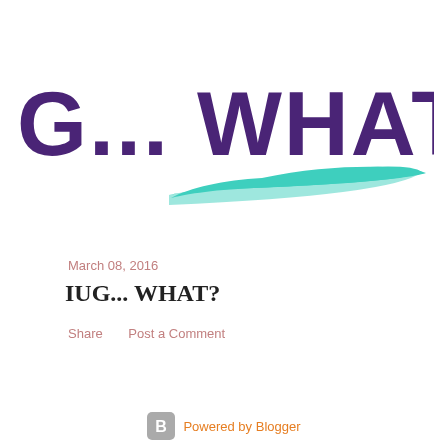[Figure (logo): IUG... WHAT? blog logo with large bold purple text and teal swoosh underline]
March 08, 2016
IUG... WHAT?
Share    Post a Comment
Powered by Blogger